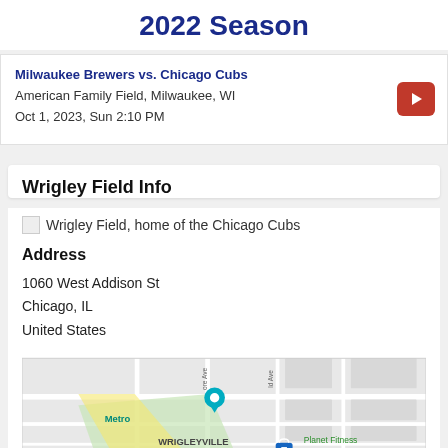2022 Season
Milwaukee Brewers vs. Chicago Cubs
American Family Field, Milwaukee, WI
Oct 1, 2023, Sun 2:10 PM
Wrigley Field Info
[Figure (photo): Wrigley Field, home of the Chicago Cubs]
Address
1060 West Addison St
Chicago, IL
United States
[Figure (map): Map showing Wrigleyville area in Chicago with location marker, street labels including ore Ave and old Ave, Planet Fitness label, Metro label, and Cubs Box Office label at bottom.]